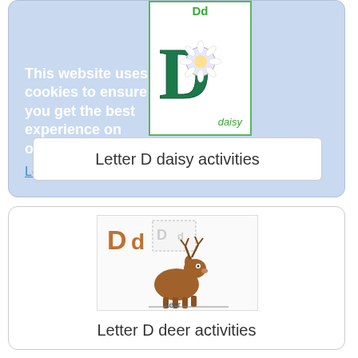[Figure (illustration): Letter D daisy flashcard showing large green D with daisy flower image and label 'daisy', with cookie consent overlay and 'Letter D daisy activities' button]
This website uses cookies to ensure you get the best experience on our website.
Learn more
Letter D daisy activities
[Figure (illustration): Letter D deer flashcard showing 'Dd' with cartoon deer illustration and label 'deer', plus tracing card thumbnail]
Letter D deer activities